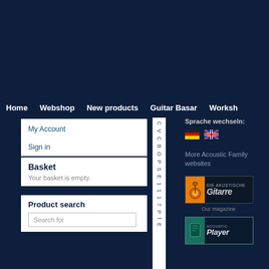Home   Webshop   New products   Guitar Basar   Worksh
My Account
Sign in
Basket
Your basket is empty.
Product search
Search for
Sprache wechseln:
[Figure (infographic): German flag and UK flag icons for language selection]
More Acoustic Family websites
[Figure (logo): Gitarre magazine logo with orange guitar icon]
Our magazine
[Figure (logo): Acoustic Player magazine logo with teal icon]